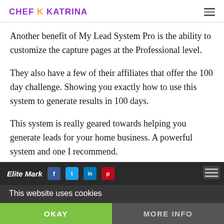CHEF K KATRINA
Another benefit of My Lead System Pro is the ability to customize the capture pages at the Professional level.
They also have a few of their affiliates that offer the 100 day challenge. Showing you exactly how to use this system to generate results in 100 days.
This system is really geared towards helping you generate leads for your home business. A powerful system and one I recommend.
This website uses cookies
OKAY
MORE INFO